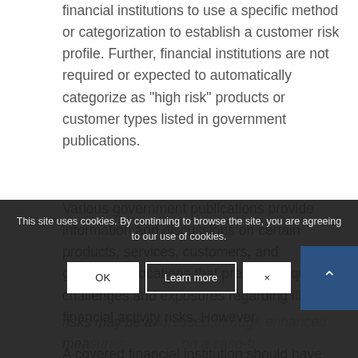financial institutions to use a specific method or categorization to establish a customer risk profile. Further, financial institutions are not required or expected to automatically categorize as "high risk" products or customer types listed in government publications.
Various government publications provide information and discussions on certain products, services, customers, and geographic locations that present unique challenges and exposures regarding illicit financial activity risks. However,
risks may be addressed through enhanced measures on a case-b...
A covered financial institution should have an...